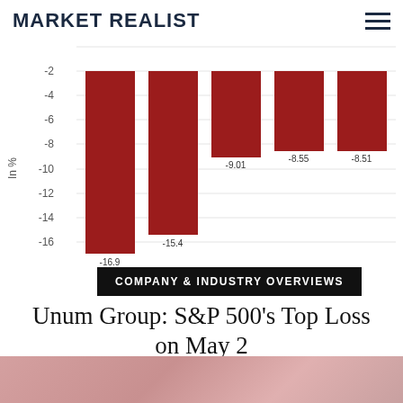MARKET REALIST
[Figure (bar-chart): ]
COMPANY & INDUSTRY OVERVIEWS
Unum Group: S&P 500's Top Loss on May 2
[Figure (photo): Pink/rose colored background photo strip at bottom of page]